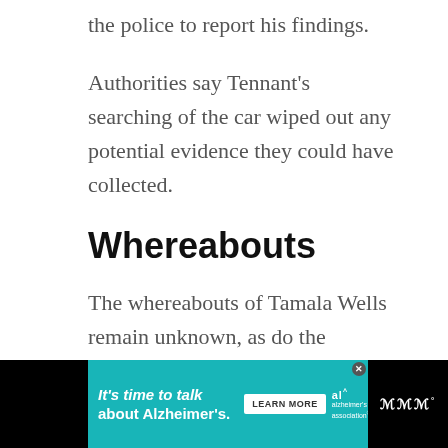the police to report his findings.
Authorities say Tennant's searching of the car wiped out any potential evidence they could have collected.
Whereabouts
The whereabouts of Tamala Wells remain unknown, as do the circumstances regarding her disappearance.
[Figure (infographic): Advertisement banner for Alzheimer's Association: teal background with text 'It's time to talk about Alzheimer's.' and a 'LEARN MORE' button, Alzheimer's Association logo, and a close/dismiss button.]